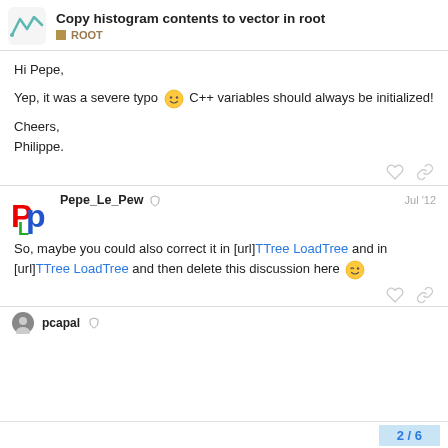Copy histogram contents to vector in root | ROOT
Hi Pepe,

Yep, it was a severe typo 🙂 C++ variables should always be initialized!

Cheers,
Philippe.
Pepe_Le_Pew  Jul '12

So, maybe you could also correct it in [url]TTree LoadTree and in [url]TTree LoadTree and then delete this discussion here 😉
pcapal
2 / 6